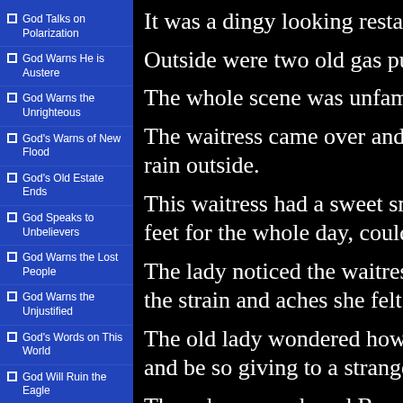God Talks on Polarization
God Warns He is Austere
God Warns the Unrighteous
God's Warns of New Flood
God's Old Estate Ends
God Speaks to Unbelievers
God Warns the Lost People
God Warns the Unjustified
God's Words on This World
God Will Ruin the Eagle
God Warns the Unbelie...
It was a dingy looking restau...
Outside were two old gas pun...
The whole scene was unfamil...
The waitress came over and b... rain outside.
This waitress had a sweet smi... feet for the whole day, couldn...
The lady noticed the waitress ... the strain and aches she felt cl...
The old lady wondered how s... and be so giving to a stranger.
Then she remembered Bryan's...